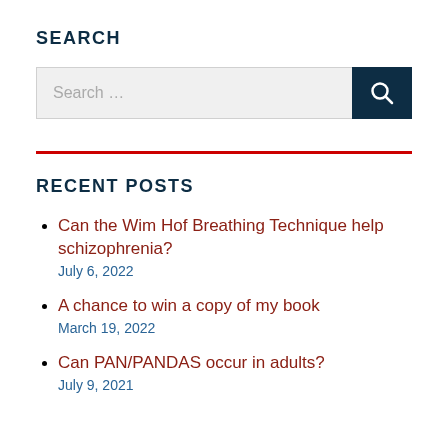SEARCH
[Figure (screenshot): Search box with placeholder text 'Search ...' and a dark navy search button with magnifying glass icon]
RECENT POSTS
Can the Wim Hof Breathing Technique help schizophrenia?
July 6, 2022
A chance to win a copy of my book
March 19, 2022
Can PAN/PANDAS occur in adults?
July 9, 2021